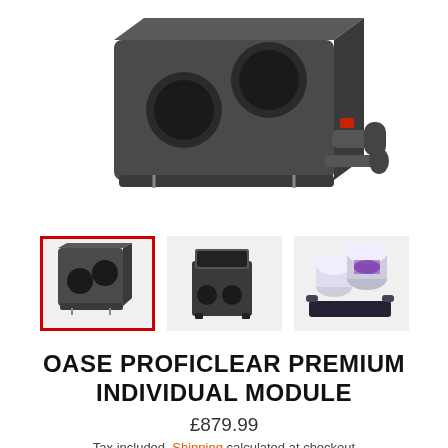[Figure (photo): Main product image of OASE ProfiClear Premium Individual Module - a dark grey rectangular filter box unit with circular inlet ports and a red valve/fitting on the side with pipe connections]
[Figure (photo): Row of three product thumbnail images: first (selected, red border) shows the dark grey filter box front view with two circular ports; second shows an open-top filter unit with internal components visible; third shows a cylindrical clear/white filter system with purple interior on a dark base]
OASE PROFICLEAR PREMIUM INDIVIDUAL MODULE
£879.99
Tax included. Shipping calculated at checkout